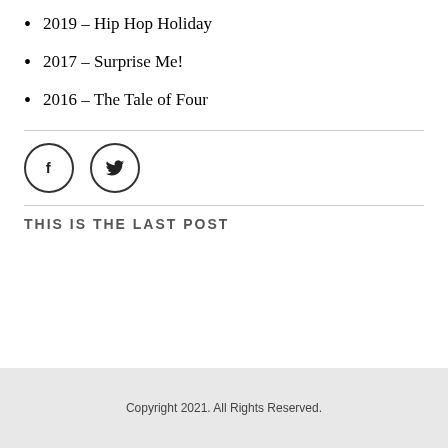2019 – Hip Hop Holiday
2017 – Surprise Me!
2016 – The Tale of Four
[Figure (illustration): Social media icons: Facebook (f) and Twitter (bird) circles]
THIS IS THE LAST POST
Copyright 2021. All Rights Reserved.